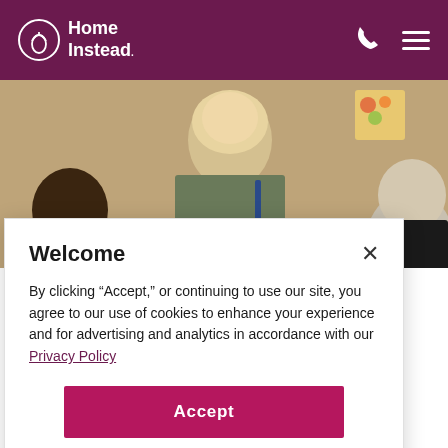Home Instead.
[Figure (photo): Photo of smiling women, one with blonde hair in a green cardigan, others partially visible]
Welcome
By clicking “Accept,” or continuing to use our site, you agree to our use of cookies to enhance your experience and for advertising and analytics in accordance with our Privacy Policy
Accept
Cookie Settings